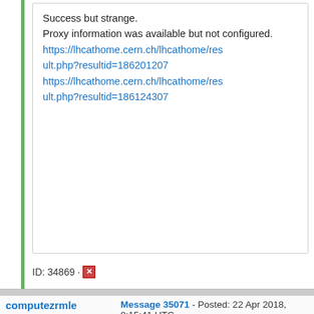Success but strange.
Proxy information was available but not configured.
https://lhcathome.cern.ch/lhcathome/result.php?resultid=186201207
https://lhcathome.cern.ch/lhcathome/result.php?resultid=186124307
ID: 34869 ·
computezrmle
Volunteer moderator
Volunteer developer
Volunteer tester
[Figure (photo): LHC@home avatar showing particle collision graphic on blue background]
Send message
Joined: 15 Jun 08
Message 35071 - Posted: 22 Apr 2018, 8:15:41 UTC
2018-04-22 09:46:52 (59022): Guest Log: [DEBUG] Detected squid proxy http://<hostname_censored_by_volunteer/>:3128
2018-04-22 09:47:57 (59022): Guest Log: Probing /cvmfs/grid.cern.ch... OK
2018-04-22 09:47:58 (59022): Guest Log: Probing /cvmfs/cms.cern.ch... Failed!